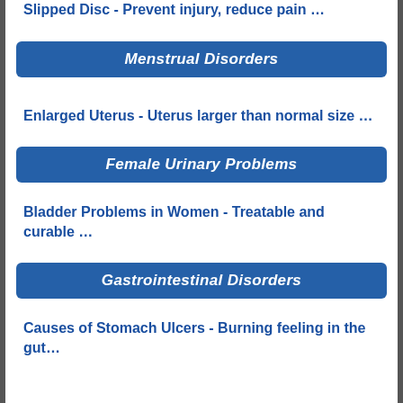Slipped Disc  - Prevent injury, reduce pain ...
Menstrual Disorders
Enlarged Uterus  - Uterus larger than normal size …
Female Urinary Problems
Bladder Problems in Women  - Treatable and curable …
Gastrointestinal Disorders
Causes of Stomach Ulcers  - Burning feeling in the gut…